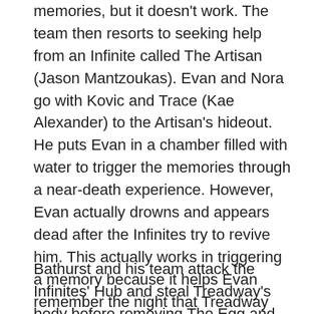memories, but it doesn't work. The team then resorts to seeking help from an Infinite called The Artisan (Jason Mantzoukas). Evan and Nora go with Kovic and Trace (Kae Alexander) to the Artisan's hideout. He puts Evan in a chamber filled with water to trigger the memories through a near-death experience. However, Evan actually drowns and appears dead after the Infinites try to revive him. This actually works in triggering a memory because it helps Evan remember the night that Treadway died – he fought Bathurst (here played by Rupert Friend) after not delivering The Egg, which was because Treadway cut his abdomen open and stored The Egg in there. Just as they make this discovery, Bathurst overhears it and sends his men to attack the Infinites. Trace is killed, and while Kovic puts up a fight, he is killed too.
Bathurst and his team attack the Infinites' Hub and steal Treadway's body before removing The Egg and taking it to the sky. Evan and Nora storm Bathurst's estate to go